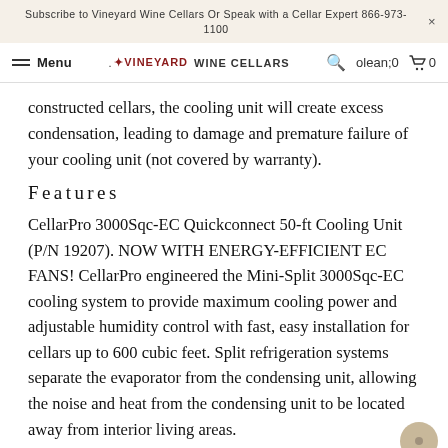Subscribe to Vineyard Wine Cellars Or Speak with a Cellar Expert 866-973-1100
Menu | VINEYARD WINE CELLARS | 0
constructed cellars, the cooling unit will create excess condensation, leading to damage and premature failure of your cooling unit (not covered by warranty).
Features
CellarPro 3000Sqc-EC Quickconnect 50-ft Cooling Unit (P/N 19207). NOW WITH ENERGY-EFFICIENT EC FANS! CellarPro engineered the Mini-Split 3000Sqc-EC cooling system to provide maximum cooling power and adjustable humidity control with fast, easy installation for cellars up to 600 cubic feet. Split refrigeration systems separate the evaporator from the condensing unit, allowing the noise and heat from the condensing unit to be located away from interior living areas.